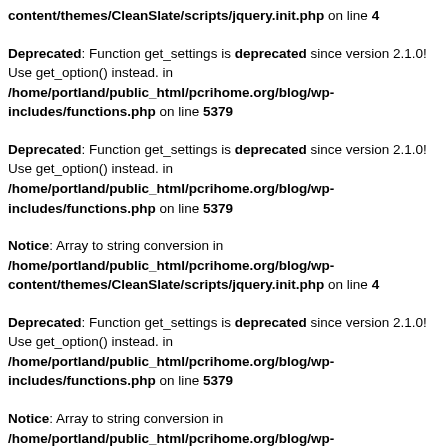content/themes/CleanSlate/scripts/jquery.init.php on line 4
Deprecated: Function get_settings is deprecated since version 2.1.0! Use get_option() instead. in /home/portland/public_html/pcrihome.org/blog/wp-includes/functions.php on line 5379
Deprecated: Function get_settings is deprecated since version 2.1.0! Use get_option() instead. in /home/portland/public_html/pcrihome.org/blog/wp-includes/functions.php on line 5379
Notice: Array to string conversion in /home/portland/public_html/pcrihome.org/blog/wp-content/themes/CleanSlate/scripts/jquery.init.php on line 4
Deprecated: Function get_settings is deprecated since version 2.1.0! Use get_option() instead. in /home/portland/public_html/pcrihome.org/blog/wp-includes/functions.php on line 5379
Notice: Array to string conversion in /home/portland/public_html/pcrihome.org/blog/wp-